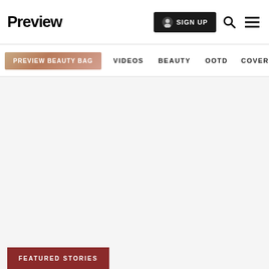Preview
SIGN UP
PREVIEW BEAUTY BAG  VIDEOS  BEAUTY  OOTD  COVER STORIES
[Figure (other): Large empty/loading content area with light gray background]
FEATURED STORIES